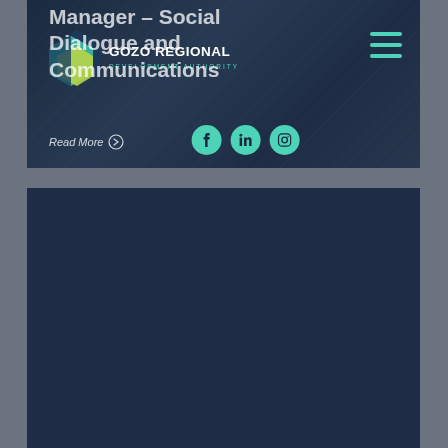[Figure (screenshot): Gozo Regional Development Authority website header/navigation screenshot showing logo, hamburger menu, hero text about Manager - Social Dialogue and Communications role, Read More button, and social media icons (Facebook, LinkedIn, Instagram) on a dark navy background]
Manager – Social Dialogue and Communications
Read More
[Figure (screenshot): Lower portion of the Gozo Regional Development Authority website showing a large dark navy blue empty content area]